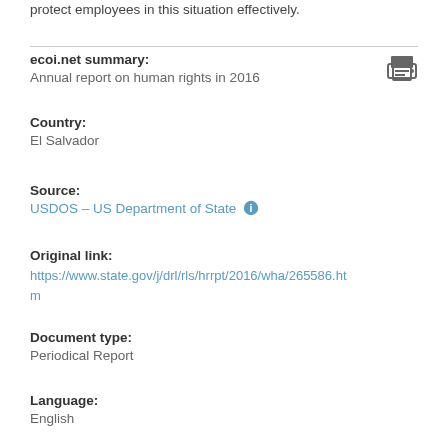protect employees in this situation effectively.
ecoi.net summary:
Annual report on human rights in 2016
Country:
El Salvador
Source:
USDOS – US Department of State
Original link:
https://www.state.gov/j/drl/rls/hrrpt/2016/wha/265586.htm
Document type:
Periodical Report
Language:
English